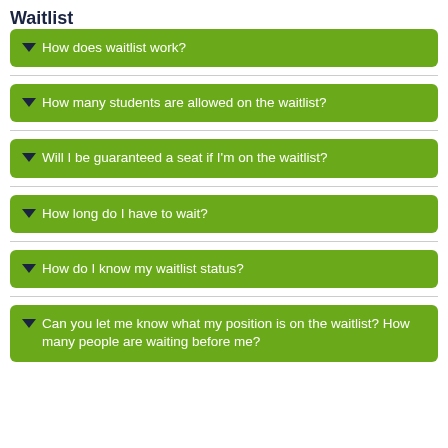Waitlist
How does waitlist work?
How many students are allowed on the waitlist?
Will I be guaranteed a seat if I'm on the waitlist?
How long do I have to wait?
How do I know my waitlist status?
Can you let me know what my position is on the waitlist? How many people are waiting before me?